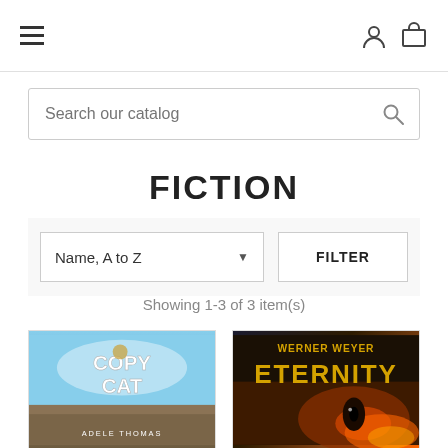Navigation bar with hamburger menu, user icon, and cart icon
Search our catalog
FICTION
Name, A to Z
FILTER
Showing 1-3 of 3 item(s)
[Figure (illustration): Book cover: COPY CAT by ADELE THOMAS, sky blue and stone background]
[Figure (illustration): Book cover: ETERNITY by WERNER WEYER, dark dramatic eye close-up with fire colors]